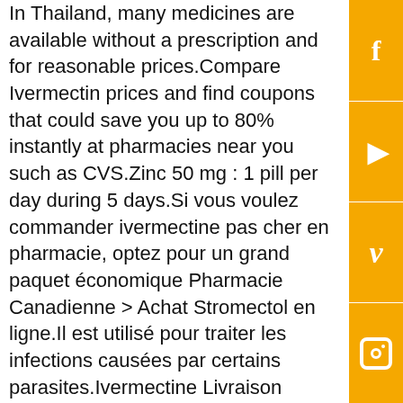In Thailand, many medicines are available without a prescription and for reasonable prices.Compare Ivermectin prices and find coupons that could save you up to 80% instantly at pharmacies near you such as CVS.Zinc 50 mg : 1 pill per day during 5 days.Si vous voulez commander ivermectine pas cher en pharmacie, optez pour un grand paquet économique Pharmacie Canadienne > Achat Stromectol en ligne.Il est utilisé pour traiter les infections causées par certains parasites.Ivermectine Livraison Discrete Bas Prix.43 83% Stromectol (ivermectin) 3 mg 8 tablets .Twenty minutes online with a online pharmacy and in two weeks or less your order arrives to your front door or local post office can this be used to treat scabies.38 78% Ivermectin (generic topical cream) 1% tube 45 g 5.De plus, l'ivermectine (Stromectol) gagne en popularité dans la prévention du COVID 19.Ivermectin tablets are approved at very specific doses for some parasitic worms, and there are